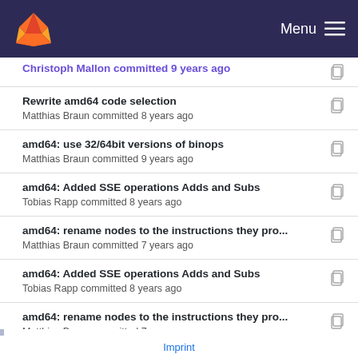GitLab — Menu
Rewrite amd64 code selection — Matthias Braun committed 8 years ago
amd64: use 32/64bit versions of binops — Matthias Braun committed 9 years ago
amd64: Added SSE operations Adds and Subs — Tobias Rapp committed 8 years ago
amd64: rename nodes to the instructions they pro... — Matthias Braun committed 7 years ago
amd64: Added SSE operations Adds and Subs — Tobias Rapp committed 8 years ago
amd64: rename nodes to the instructions they pro... — Matthias Braun committed 7 years ago
amd64: Added SSE operations Adds and Subs (partial)
Imprint